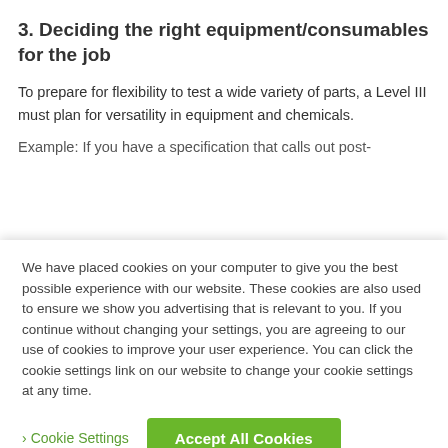3. Deciding the right equipment/consumables for the job
To prepare for flexibility to test a wide variety of parts, a Level III must plan for versatility in equipment and chemicals.
Example: If you have a specification that calls out post-
We have placed cookies on your computer to give you the best possible experience with our website. These cookies are also used to ensure we show you advertising that is relevant to you. If you continue without changing your settings, you are agreeing to our use of cookies to improve your user experience. You can click the cookie settings link on our website to change your cookie settings at any time.